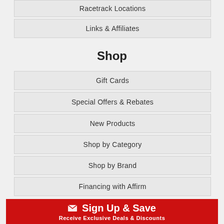Racetrack Locations
Links & Affiliates
Shop
Gift Cards
Special Offers & Rebates
New Products
Shop by Category
Shop by Brand
Financing with Affirm
Sign Up & Save
Receive Exclusive Deals & Discounts